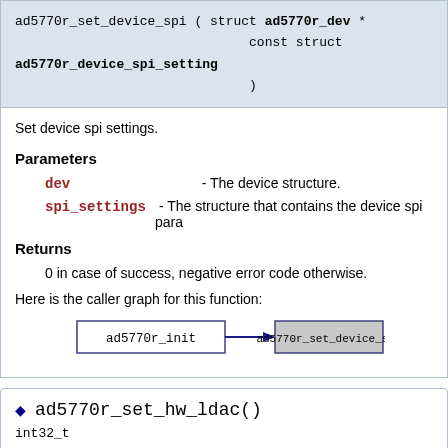ad5770r_set_device_spi ( struct ad5770r_dev *
                             const struct ad5770r_device_spi_setting
                             )
Set device spi settings.
Parameters
dev - The device structure.
spi_settings - The structure that contains the device spi para
Returns
0 in case of success, negative error code otherwise.
Here is the caller graph for this function:
[Figure (flowchart): Caller graph showing ad5770r_init calling ad5770r_set_device_spi]
◆ ad5770r_set_hw_ldac()
int32_t